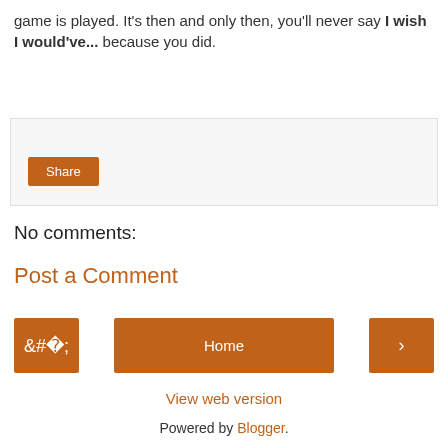game is played. It's then and only then, you'll never say I wish I would've... because you did.
[Figure (other): Share button box with light gray background and an orange Share button]
No comments:
Post a Comment
[Figure (other): Navigation bar with left arrow button, Home button, and right arrow button, all in orange]
View web version
Powered by Blogger.